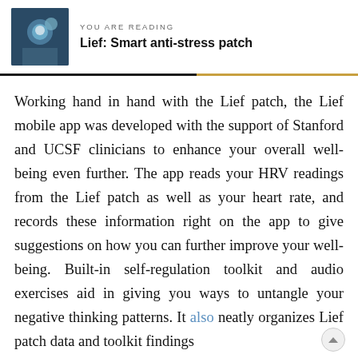YOU ARE READING
Lief: Smart anti-stress patch
Working hand in hand with the Lief patch, the Lief mobile app was developed with the support of Stanford and UCSF clinicians to enhance your overall well-being even further. The app reads your HRV readings from the Lief patch as well as your heart rate, and records these information right on the app to give suggestions on how you can further improve your well-being. Built-in self-regulation toolkit and audio exercises aid in giving you ways to untangle your negative thinking patterns. It also neatly organizes Lief patch data and toolkit findings